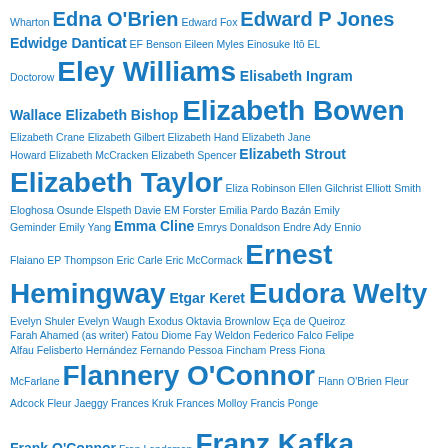Wharton Edna O'Brien Edward Fox Edward P Jones Edwidge Danticat EF Benson Eileen Myles Einosuke Itō EL Doctorow Eley Williams Elisabeth Ingram Wallace Elizabeth Bishop Elizabeth Bowen Elizabeth Crane Elizabeth Gilbert Elizabeth Hand Elizabeth Jane Howard Elizabeth McCracken Elizabeth Spencer Elizabeth Strout Elizabeth Taylor Eliza Robinson Ellen Gilchrist Elliott Smith Eloghosa Osunde Elspeth Davie EM Forster Emilia Pardo Bazán Emily Geminder Emily Yang Emma Cline Emrys Donaldson Endre Ady Ennio Flaiano EP Thompson Eric Carle Eric McCormack Ernest Hemingway Etgar Keret Eudora Welty Evelyn Shuler Evelyn Waugh Exodus Oktavia Brownlow Eça de Queiroz Farah Ahamed (as writer) Fatou Diome Fay Weldon Federico Falco Felipe Alfau Felisberto Hernández Fernando Pessoa Fincham Press Fiona McFarlane Flannery O'Connor Flann O'Brien Fleur Adcock Fleur Jaeggy Frances Kruk Frances Molloy Francis Ponge Frank O'Connor Fran Landsman Franz Kafka Françoise Mouly Frederic Aurelia Ridpath Frederico Falco Friedrich Christian Delius F Scott Fitzgerald Fumiko Enchi Fyodor Gabriel García Márquez